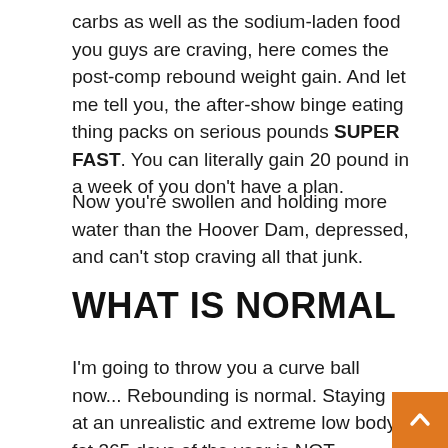carbs as well as the sodium-laden food you guys are craving, here comes the post-comp rebound weight gain. And let me tell you, the after-show binge eating thing packs on serious pounds SUPER FAST. You can literally gain 20 pound in a week of you don't have a plan.
Now you're swollen and holding more water than the Hoover Dam, depressed, and can't stop craving all that junk.
WHAT IS NORMAL
I'm going to throw you a curve ball now... Rebounding is normal. Staying at an unrealistic and extreme low body fat 365 days of the year is NOT normal. During the contest prep phase the competitor's mind shifts along with her